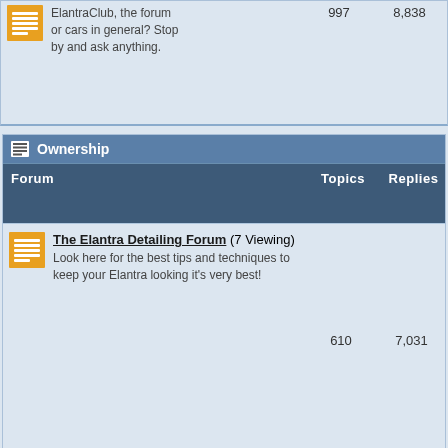| Forum | Topics | Replies | Last Post Info |
| --- | --- | --- | --- |
| ElantraClub, the forum or cars in general? Stop by and ask anything. | 997 | 8,838 | In: Newbie 17 ECO
By: rstnick |
| The Elantra Detailing Forum (7 Viewing)
Look here for the best tips and techniques to keep your Elantra looking it's very best! | 610 | 7,031 | Jun 27 2017, 06:10 AM
In: Detailed my wife's 2016 Ac
By: Bigs |
| Dealer and Warranty Issues
Having a service or warranty issue with your Hyundai dealer you need to resolve? Post it here. | 248 | 2,759 | Jan 3 2017, 11:50 PM
In: Protected Forum
By: roydjt |
| The DIY Project Center |  |  |  |